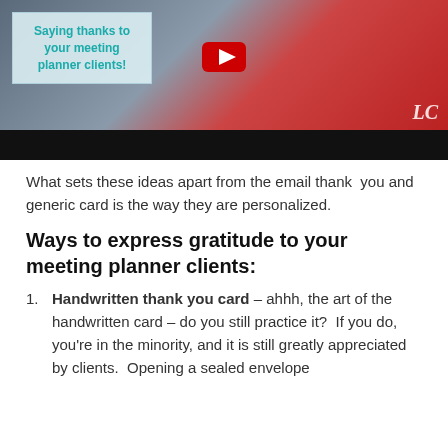[Figure (screenshot): YouTube video thumbnail showing a person excited with a red wrapped gift, with a teal overlay box saying 'Saying thanks to your meeting planner clients!' and YouTube play button. 'LC' watermark in bottom right.]
What sets these ideas apart from the email thank you and generic card is the way they are personalized.
Ways to express gratitude to your meeting planner clients:
Handwritten thank you card – ahhh, the art of the handwritten card – do you still practice it?  If you do, you're in the minority, and it is still greatly appreciated by clients.  Opening a sealed envelope